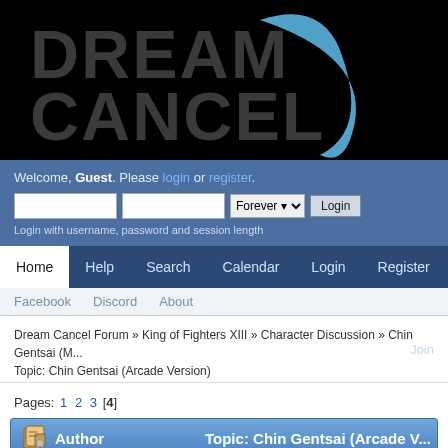[Figure (logo): Dream Cancel forum logo — black background with large grey 'DREAM' and 'CANCEL' text and a blue arc/crescent swoosh graphic]
Welcome, Guest. Please login or register.
Login with username, password and session length
Join
Home  Help  Search  Calendar  Login  Register  Homepage
Facebook  Discord  About
Dream Cancel Forum » King of Fighters XIII » Character Discussion » Chin Gentsai (M...
Topic: Chin Gentsai (Arcade Version)
Pages: 1 2 3 [4]
Author  Topic: Chin Gentsai (Arcade V...